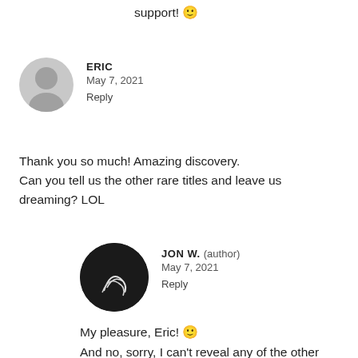support! 🙂
ERIC
May 7, 2021
Reply
Thank you so much! Amazing discovery. Can you tell us the other rare titles and leave us dreaming? LOL
JON W. (author)
May 7, 2021
Reply
My pleasure, Eric! 🙂
And no, sorry, I can't reveal any of the other titles coming but one that is coming very soon